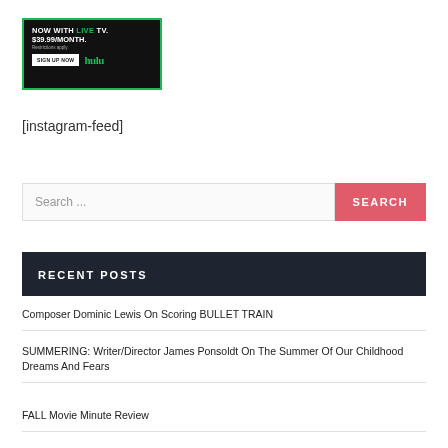[Figure (photo): Hulu advertisement banner with dark background and green border. Text reads: NOW WITH LIVE TV. $39.99/MONTH. Restrictions apply. SIGN UP NOW. hulu logo.]
[instagram-feed]
Search ...
RECENT POSTS
Composer Dominic Lewis On Scoring BULLET TRAIN
SUMMERING: Writer/Director James Ponsoldt On The Summer Of Our Childhood Dreams And Fears
FALL Movie Minute Review